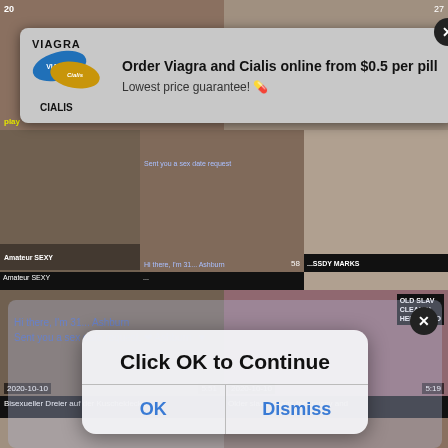[Figure (screenshot): Adult video website with multiple video thumbnails and popup advertisements for Viagra/Cialis and a sex date request dialog]
VIAGRA
Order Viagra and Cialis online from $0.5 per pill
Lowest price guarantee! 💊
CIALIS
Click OK to Continue
OK
Dismiss
Hi there, I'm 31... Ashburn
Sent you a sex date request. ❤ Ashburn
Amateur SEXY
Bisexueller Dreier auf der Kuscheldecke
Older slave cleans feet pussy and
2020-10-10
5:51
2020-10-10
5:19
OLD SLAV
CLEANIN
HER ASSHO